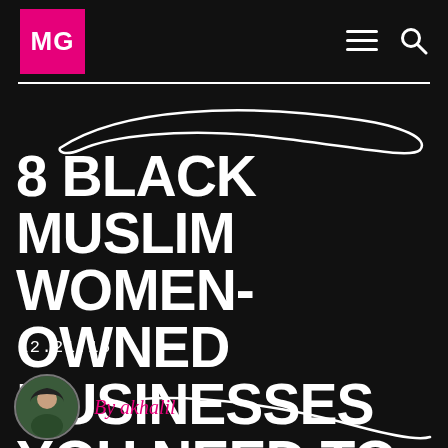MG
8 BLACK MUSLIM WOMEN-OWNED BUSINESSES YOU NEED TO CHECK OUT
12.21.16
By akhalil